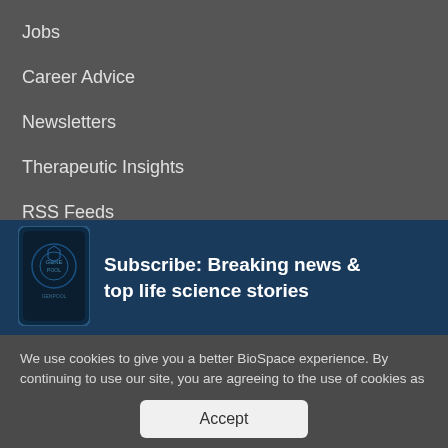Jobs
Career Advice
Newsletters
Therapeutic Insights
RSS Feeds
[Figure (screenshot): Subscribe banner with phone image showing GENPOOL app]
Subscribe: Breaking news & top life science stories
We use cookies to give you a better BioSpace experience. By continuing to use our site, you are agreeing to the use of cookies as set in our Privacy Policy.
Accept